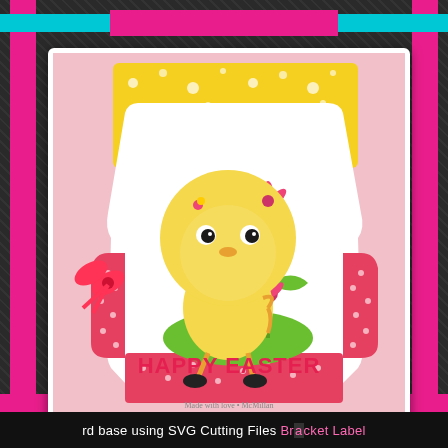[Figure (photo): A handmade Easter greeting card featuring a cute cartoon chick character in a yellow chick costume holding a pink lily flower on a green grass mound. The card has a yellow polka-dot patterned top border and a red/pink polka-dot lower border. A red ribbon bow is attached to the left side. The card reads 'HAPPY EASTER' in red text at the bottom. The card shape is a bracket/label die-cut shape. Pink background.]
rd base using SVG Cutting Files Bracket Label